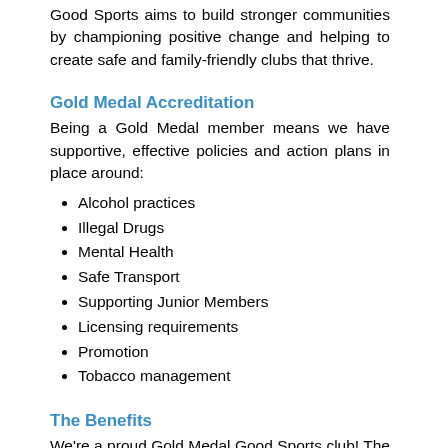Good Sports aims to build stronger communities by championing positive change and helping to create safe and family-friendly clubs that thrive.
Gold Medal Accreditation
Being a Gold Medal member means we have supportive, effective policies and action plans in place around:
Alcohol practices
Illegal Drugs
Mental Health
Safe Transport
Supporting Junior Members
Licensing requirements
Promotion
Tobacco management
The Benefits
We're a proud Gold Medal Good Sports club! The Good Sports